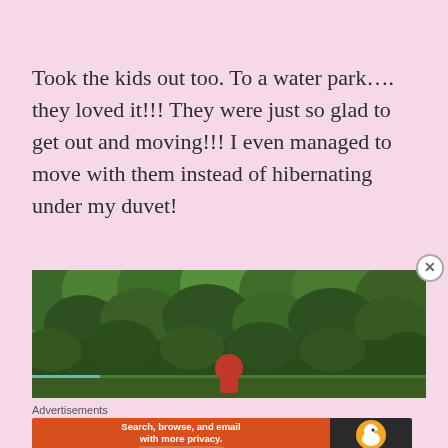Took the kids out too. To a water park…. they loved it!!! They were just so glad to get out and moving!!! I even managed to move with them instead of hibernating under my duvet!
[Figure (photo): Outdoor photo showing dense green trees and foliage, with a person in red visible at the bottom center, and a small patch of blue/green water at the bottom left — appears to be taken at a water park.]
Advertisements
[Figure (other): DuckDuckGo advertisement banner: orange left section with text 'Search, browse, and email with more privacy. All in One Free App', dark right section with DuckDuckGo logo and duck icon.]